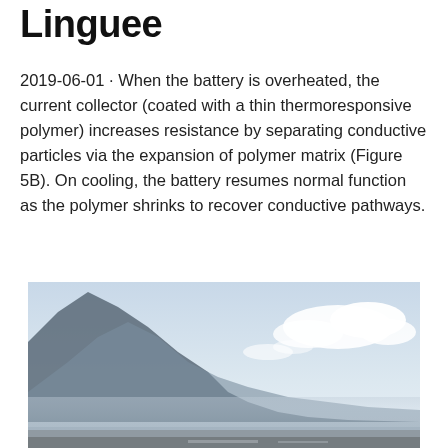Linguee
2019-06-01 · When the battery is overheated, the current collector (coated with a thin thermoresponsive polymer) increases resistance by separating conductive particles via the expansion of polymer matrix (Figure 5B). On cooling, the battery resumes normal function as the polymer shrinks to recover conductive pathways.
[Figure (photo): Landscape photograph showing mountains in the background with a hazy blue sky, clouds, and what appears to be a roadway or structure at the bottom edge.]